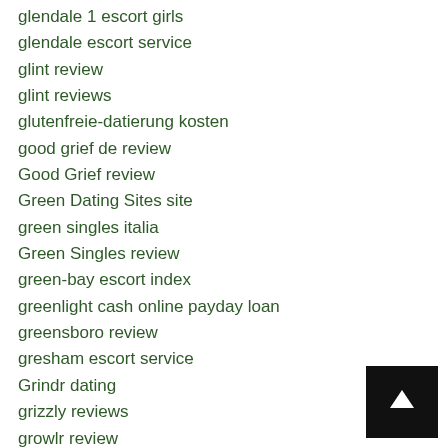glendale 1 escort girls
glendale escort service
glint review
glint reviews
glutenfreie-datierung kosten
good grief de review
Good Grief review
Green Dating Sites site
green singles italia
Green Singles review
green-bay escort index
greenlight cash online payday loan
greensboro review
gresham escort service
Grindr dating
grizzly reviews
growlr review
guaranteed approval installment loans
guaranteed bad credit installment loans